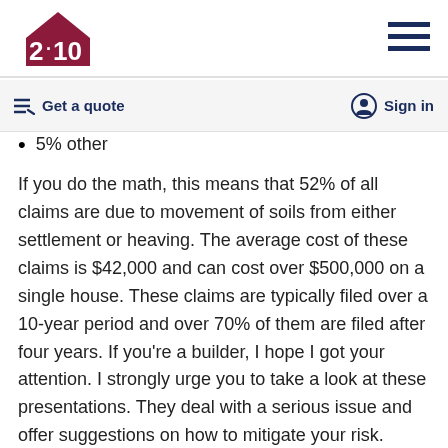2-10 Home Buyers Warranty logo and navigation
Get a quote | Sign in
5% other
If you do the math, this means that 52% of all claims are due to movement of soils from either settlement or heaving. The average cost of these claims is $42,000 and can cost over $500,000 on a single house. These claims are typically filed over a 10-year period and over 70% of them are filed after four years. If you’re a builder, I hope I got your attention. I strongly urge you to take a look at these presentations. They deal with a serious issue and offer suggestions on how to mitigate your risk.
One effective tool to mitigate risk is to require geotechnical